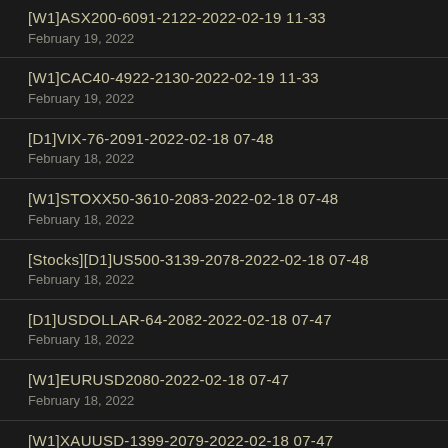[W1]ASX200-6091-2122-2022-02-19 11-33
February 19, 2022
[W1]CAC40-4922-2130-2022-02-19 11-33
February 19, 2022
[D1]VIX-76-2091-2022-02-18 07-48
February 18, 2022
[W1]STOXX50-3610-2083-2022-02-18 07-48
February 18, 2022
[Stocks][D1]US500-3139-2078-2022-02-18 07-48
February 18, 2022
[D1]USDOLLAR-64-2082-2022-02-18 07-47
February 18, 2022
[W1]EURUSD2080-2022-02-18 07-47
February 18, 2022
[W1]XAUUSD-1399-2079-2022-02-18 07-47
February 18, 2022